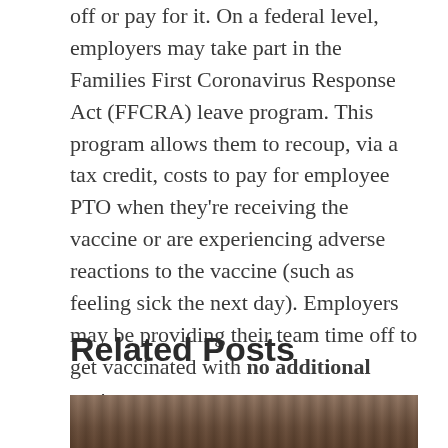off or pay for it. On a federal level, employers may take part in the Families First Coronavirus Response Act (FFCRA) leave program. This program allows them to recoup, via a tax credit, costs to pay for employee PTO when they're receiving the vaccine or are experiencing adverse reactions to the vaccine (such as feeling sick the next day). Employers may be providing their team time off to get vaccinated with no additional cost.
Related Posts
[Figure (photo): A photograph showing people, partially visible at the bottom of the page beneath the Related Posts heading.]